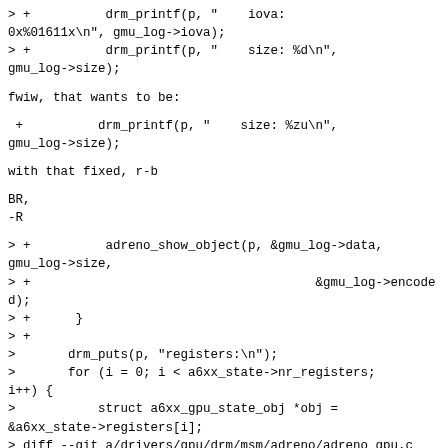> +          drm_printf(p, "    iova: 0x%01611x\n", gmu_log->iova);
> +          drm_printf(p, "    size: %d\n", gmu_log->size);
fwiw, that wants to be:
+          drm_printf(p, "    size: %zu\n", gmu_log->size);
with that fixed, r-b
BR,
-R
> +          adreno_show_object(p, &gmu_log->data, gmu_log->size,
> +                                      &gmu_log->encoded);
> +      }
> +
>       drm_puts(p, "registers:\n");
>       for (i = 0; i < a6xx_state->nr_registers; i++) {
>           struct a6xx_gpu_state_obj *obj = &a6xx_state->registers[i];
> diff --git a/drivers/gpu/drm/msm/adreno/adreno_gpu.c b/drivers/gpu/drm/msm/adreno/adreno_gpu.c
> index 7486652..7d1ff20 100644
> --- a/drivers/gpu/drm/msm/adreno/adreno_gpu.c
> +++ b/drivers/gpu/drm/msm/adreno/adreno_gpu.c